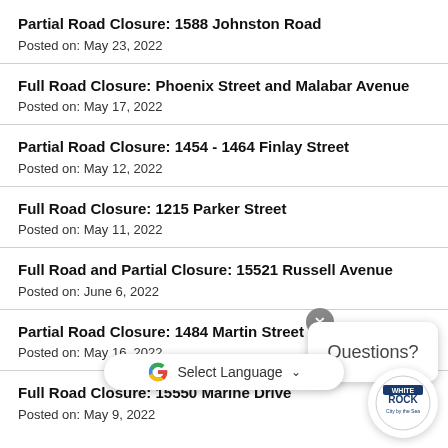Partial Road Closure: 1588 Johnston Road
Posted on: May 23, 2022
Full Road Closure: Phoenix Street and Malabar Avenue
Posted on: May 17, 2022
Partial Road Closure: 1454 - 1464 Finlay Street
Posted on: May 12, 2022
Full Road Closure: 1215 Parker Street
Posted on: May 11, 2022
Full Road and Partial Closure: 15521 Russell Avenue
Posted on: June 6, 2022
Partial Road Closure: 1484 Martin Street
Posted on: May 16, 2022
Full Road Closure: 15550 Marine Drive
Posted on: May 9, 2022